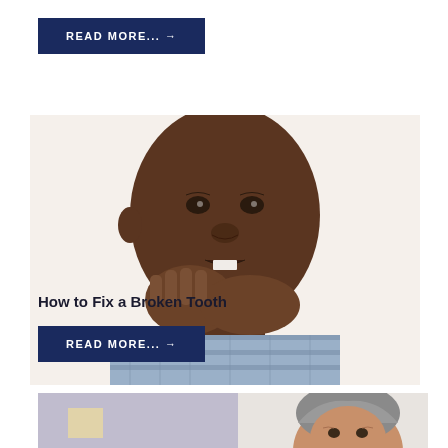[Figure (other): Button/link element with dark navy background and white uppercase text reading READ MORE... →]
[Figure (photo): Close-up photo of a young Black man holding his jaw/cheek with both hands, grimacing in dental pain, wearing a plaid shirt, white background]
How to Fix a Broken Tooth
[Figure (other): Button/link element with dark navy background and white uppercase text reading READ MORE... →]
[Figure (photo): Partial photo of an older woman with gray hair, in what appears to be a medical or dental office setting with a light purple/lavender wall]